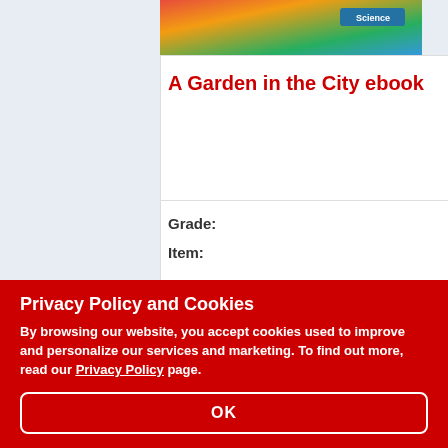[Figure (photo): Book cover for 'A Garden in the City' with colorful illustration, Science badge visible]
A Garden in the City ebook
An
| Grade: | 1-2 |
| Item: | 10006E |
|  | $7.99 |
Gra
Ite
Privacy Policy and Cookies
By browsing our website, you accept cookies used to improve and personalize our services and marketing. To find out more, read our Privacy Policy page.
OK